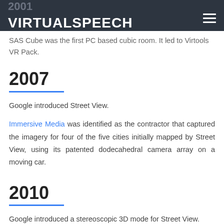VIRTUALSPEECH
SAS Cube was the first PC based cubic room. It led to Virtools VR Pack.
2007
Google introduced Street View.
Immersive Media was identified as the contractor that captured the imagery for four of the five cities initially mapped by Street View, using its patented dodecahedral camera array on a moving car.
2010
Google introduced a stereoscopic 3D mode for Street View.